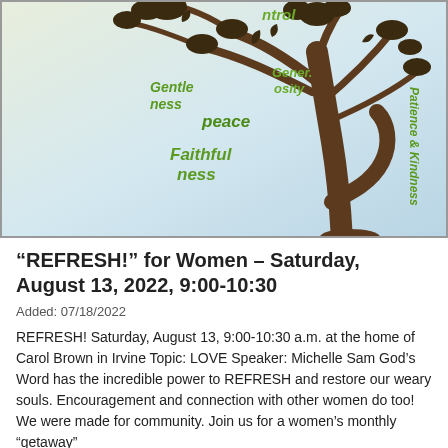[Figure (illustration): Decorative tree illustration with words representing virtues/fruits of the spirit: control, Gentleness, Generosity, peace, Faithfulness, Patience & Kindness written among the branches and leaves in green and brown]
“REFRESH!” for Women – Saturday, August 13, 2022, 9:00-10:30
Added: 07/18/2022
REFRESH! Saturday, August 13, 9:00-10:30 a.m. at the home of Carol Brown in Irvine Topic: LOVE Speaker: Michelle Sam God’s Word has the incredible power to REFRESH and restore our weary souls. Encouragement and connection with other women do too! We were made for community. Join us for a women’s monthly “getaway”